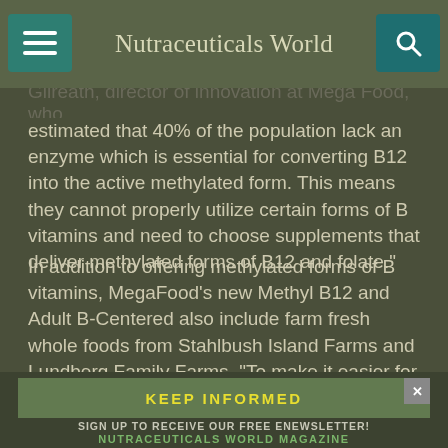Nutraceuticals World
Gilreath, director of innovation at Mega Food, who estimated that 40% of the population lack an enzyme which is essential for converting B12 into the active methylated form. This means they cannot properly utilize certain forms of B vitamins and need to choose supplements that deliver methylated forms of B12 and folate."
In addition to offering methylated forms of B vitamins, MegaFood’s new Methyl B12 and Adult B-Centered also include farm fresh whole foods from Stahlbush Island Farms and Lundberg Family Farms.  "To make it easier for shoppers to choose the right B complex vitamin for them, we also updated our label to list the nutrient form plus the whole food we start with to make each one of our
[Figure (infographic): Keep Informed banner with sign up to receive our free eNewsletter and Nutraceuticals World Magazine text]